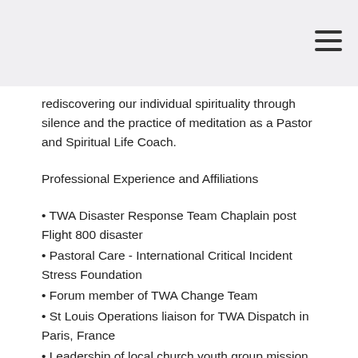rediscovering our individual spirituality through silence and the practice of meditation as a Pastor and Spiritual Life Coach.
Professional Experience and Affiliations
• TWA Disaster Response Team Chaplain post Flight 800 disaster
• Pastoral Care - International Critical Incident Stress Foundation
• Forum member of TWA Change Team
• St Louis Operations liaison for TWA Dispatch in Paris, France
• Leadership of local church youth group mission projects including ASP, Habitat for Humanity, Room at the Inn and Youth Works
• Habitat for Humanity of St Charles Silver...